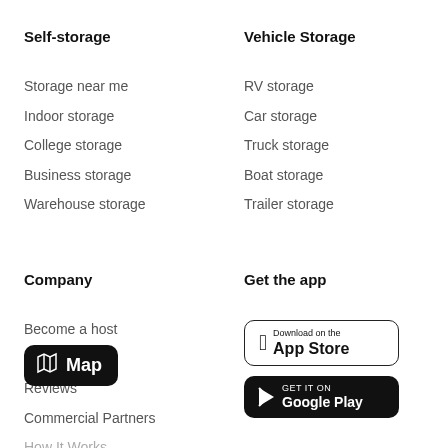Self-storage
Storage near me
Indoor storage
College storage
Business storage
Warehouse storage
Vehicle Storage
RV storage
Car storage
Truck storage
Boat storage
Trailer storage
Company
Become a host
Careers
Reviews
Commercial Partners
How It Works
Get the app
[Figure (screenshot): Download on the App Store button]
[Figure (screenshot): Get it on Google Play button]
[Figure (other): Map icon overlay button]